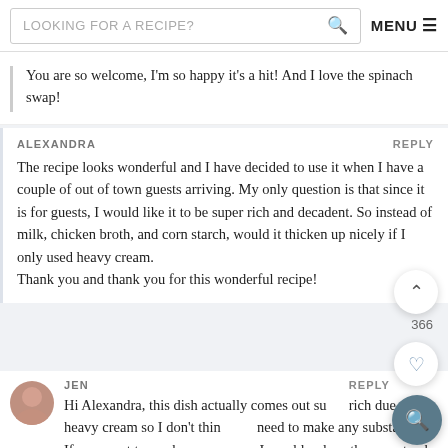LOOKING FOR A RECIPE? [search icon] MENU ≡
You are so welcome, I'm so happy it's a hit! And I love the spinach swap!
ALEXANDRA
REPLY
The recipe looks wonderful and I have decided to use it when I have a couple of out of town guests arriving. My only question is that since it is for guests, I would like it to be super rich and decadent. So instead of milk, chicken broth, and corn starch, would it thicken up nicely if I only used heavy cream.
Thank you and thank you for this wonderful recipe!
JEN
REPLY
Hi Alexandra, this dish actually comes out super rich due to the heavy cream so I don't think you need to make any substations. If you want to use heavy creamy, I would reduce the cornstarch to 2 tsp and swap it for the milk and not the chicken broth because the broth adds a